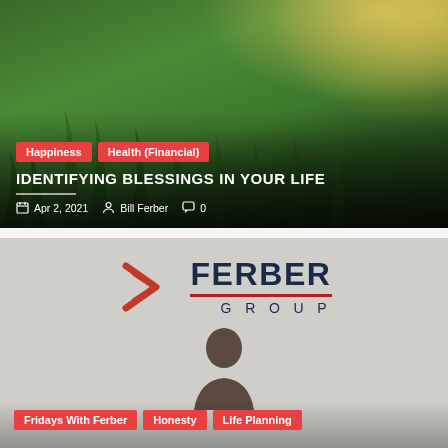[Figure (photo): Grass field with sunlight in background, blog post hero image for 'Identifying Blessings in Your Life']
Happiness
Health (Financial)
IDENTIFYING BLESSINGS IN YOUR LIFE
Apr 2, 2021  Bill Ferber  0
[Figure (photo): Ferber Group logo sign on wall with person visible below, blog post hero image for second post]
Fridays With Ferber
Honesty
Life Planning